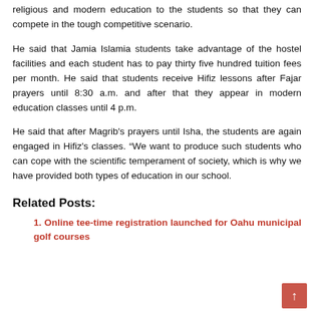religious and modern education to the students so that they can compete in the tough competitive scenario.
He said that Jamia Islamia students take advantage of the hostel facilities and each student has to pay thirty five hundred tuition fees per month. He said that students receive Hifiz lessons after Fajar prayers until 8:30 a.m. and after that they appear in modern education classes until 4 p.m.
He said that after Magrib’s prayers until Isha, the students are again engaged in Hifiz’s classes. “We want to produce such students who can cope with the scientific temperament of society, which is why we have provided both types of education in our school.
Related Posts:
1. Online tee-time registration launched for Oahu municipal golf courses